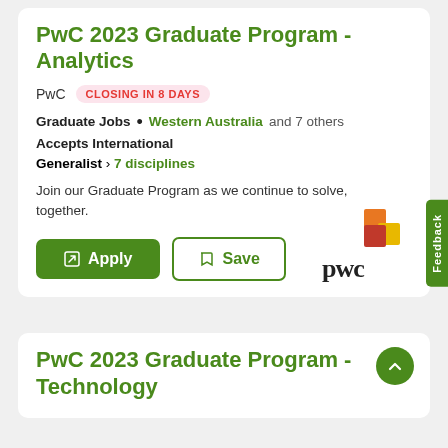PwC 2023 Graduate Program - Analytics
PwC   CLOSING IN 8 DAYS
Graduate Jobs  •  Western Australia and 7 others
Accepts International
Generalist › 7 disciplines
Join our Graduate Program as we continue to solve, together.
[Figure (logo): PwC logo with coloured blocks (orange, red, yellow) above stylised 'pwc' text]
PwC 2023 Graduate Program - Technology